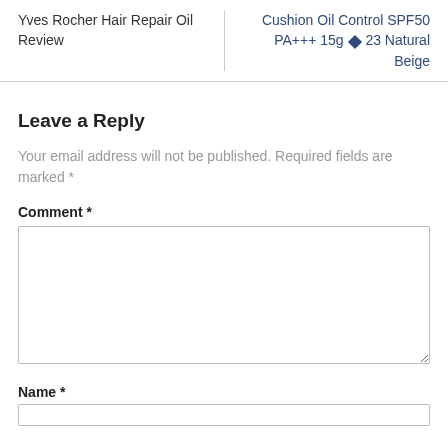Yves Rocher Hair Repair Oil Review
Cushion Oil Control SPF50 PA+++ 15g ◆ 23 Natural Beige
Leave a Reply
Your email address will not be published. Required fields are marked *
Comment *
Name *